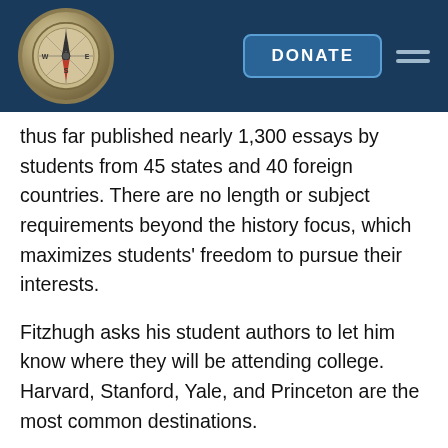[Figure (logo): Compass logo on dark blue navigation header bar with DONATE button and hamburger menu]
thus far published nearly 1,300 essays by students from 45 states and 40 foreign countries. There are no length or subject requirements beyond the history focus, which maximizes students' freedom to pursue their interests.
Fitzhugh asks his student authors to let him know where they will be attending college. Harvard, Stanford, Yale, and Princeton are the most common destinations.
The Concord Review has attracted a number of high-profile supporters, including the late